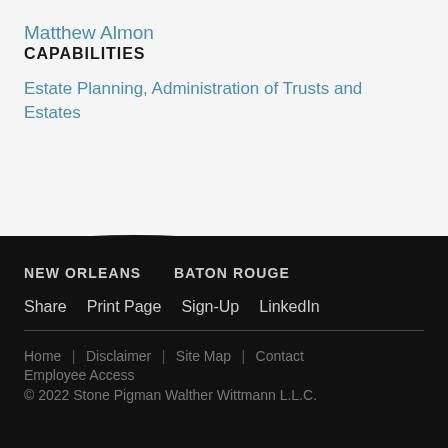Matthew Almon
CAPABILITIES
Estate Planning, Administration of Trusts and Estates
NEW ORLEANS   BATON ROUGE
Share   Print Page   Sign-Up   LinkedIn
Home   Disclaimer   Site Map   Contact
Employee Access
© 2022 Stone Pigman Walther Wittmann L.L.C.